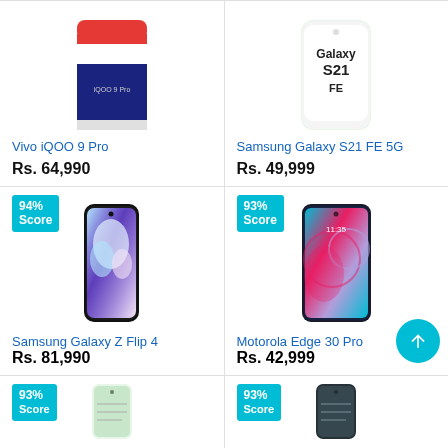[Figure (photo): Vivo iQOO 9 Pro smartphone (cropped top view), white/red/blue design]
Vivo iQOO 9 Pro
Rs. 64,990
[Figure (photo): Samsung Galaxy S21 FE 5G smartphone (cropped top view)]
Samsung Galaxy S21 FE 5G
Rs. 49,999
[Figure (photo): Samsung Galaxy Z Flip 4 smartphone, black with floral pattern display, 94% Score badge]
Samsung Galaxy Z Flip 4
Rs. 81,990
[Figure (photo): Motorola Edge 30 Pro smartphone with colorful display, 93% Score badge]
Motorola Edge 30 Pro
Rs. 42,999
[Figure (photo): Smartphone (cropped bottom), 93% Score badge (bottom left card)]
[Figure (photo): Smartphone (cropped bottom), 93% Score badge (bottom right card)]